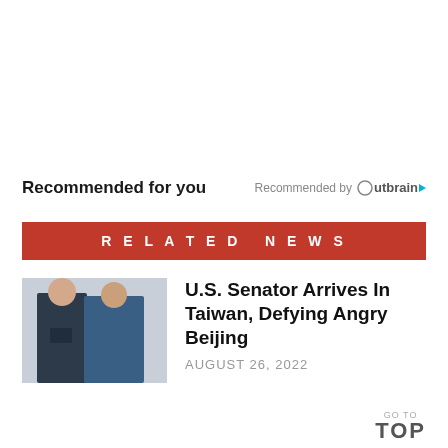Recommended for you
Recommended by Outbrain
RELATED NEWS
[Figure (photo): Two people wearing masks standing together indoors]
U.S. Senator Arrives In Taiwan, Defying Angry Beijing
AUGUST 26, 2022
GO TO TOP